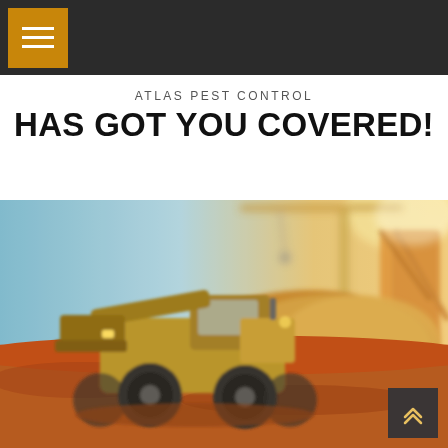Navigation bar with hamburger menu
ATLAS PEST CONTROL
HAS GOT YOU COVERED!
[Figure (photo): Blurred outdoor construction site scene showing a yellow front loader / wheel loader on red/orange dirt, with a large crane and excavation equipment in the background, sunlight flaring from the upper right.]